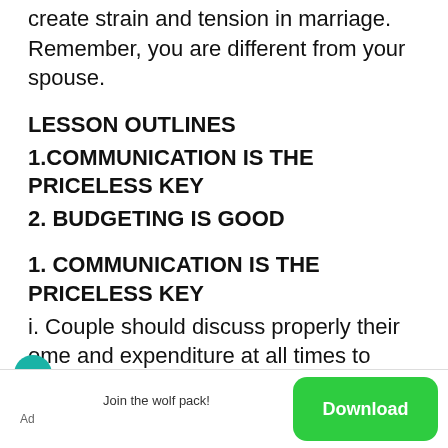create strain and tension in marriage. Remember, you are different from your spouse.
LESSON OUTLINES
1.COMMUNICATION IS THE PRICELESS KEY
2. BUDGETING IS GOOD
1. COMMUNICATION IS THE PRICELESS KEY
i. Couple should discuss properly their income and expenditure at all times to
Join the wolf pack!
Ad